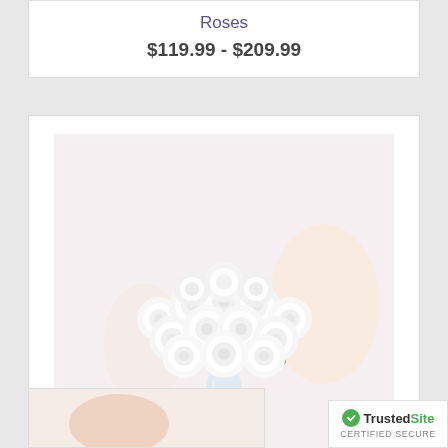Roses
$119.99 - $209.99
[Figure (photo): Large bouquet of white roses arranged in a clear glass vase, displayed on a white surface with a soft blurred background]
Ultimate Elegance™ Long Stem White Roses
$119.99 - $209.99
[Figure (logo): TrustedSite Certified Secure badge with green checkmark]